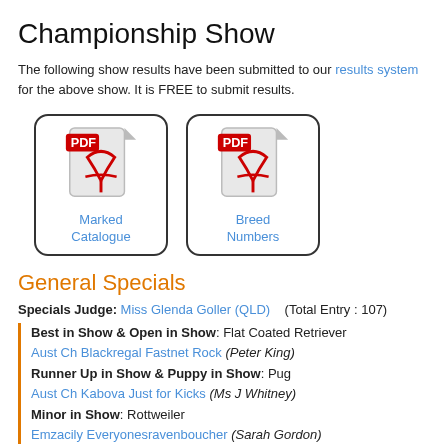Championship Show
The following show results have been submitted to our results system for the above show. It is FREE to submit results.
[Figure (other): Two PDF file icons labeled 'Marked Catalogue' and 'Breed Numbers']
General Specials
Specials Judge: Miss Glenda Goller (QLD)   (Total Entry : 107)
Best in Show & Open in Show: Flat Coated Retriever
Aust Ch Blackregal Fastnet Rock (Peter King)
Runner Up in Show & Puppy in Show: Pug
Aust Ch Kabova Just for Kicks (Ms J Whitney)
Minor in Show: Rottweiler
Emzacily Everyonesravenboucher (Sarah Gordon)